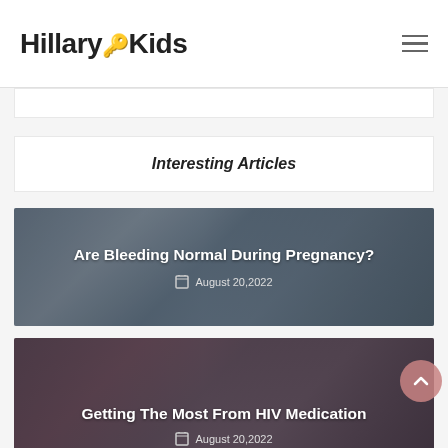HillaryKids
Interesting Articles
[Figure (photo): A pregnant woman with a doctor in the background, semi-transparent dark overlay with article title]
Are Bleeding Normal During Pregnancy?
August 20,2022
[Figure (photo): A close-up medical/HIV medication image with dark overlay and article title]
Getting The Most From HIV Medication
August 20,2022